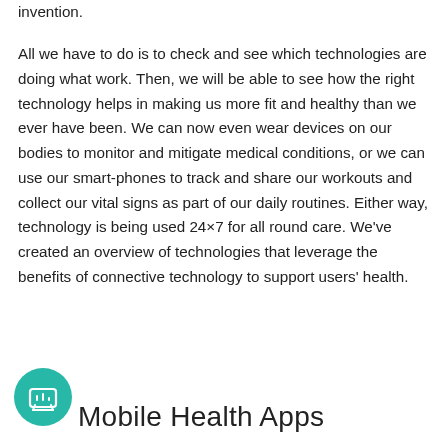invention.
All we have to do is to check and see which technologies are doing what work. Then, we will be able to see how the right technology helps in making us more fit and healthy than we ever have been. We can now even wear devices on our bodies to monitor and mitigate medical conditions, or we can use our smart-phones to track and share our workouts and collect our vital signs as part of our daily routines. Either way, technology is being used 24×7 for all round care. We've created an overview of technologies that leverage the benefits of connective technology to support users' health.
Mobile Health Apps